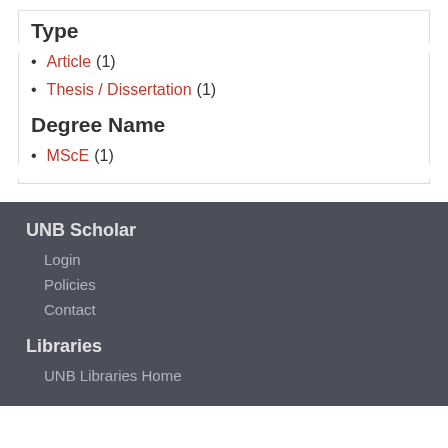Type
Article (1)
Thesis / Dissertation (1)
Degree Name
MScE (1)
UNB Scholar
Login
Policies
Contact
Libraries
UNB Libraries Home